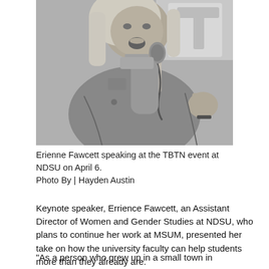[Figure (photo): Black and white photo of Erienne Fawcett speaking into a microphone at the TBTN event at NDSU on April 6. She is a woman with long blonde hair, wearing a jacket, holding a microphone with one hand and gesturing with the other.]
Erienne Fawcett speaking at the TBTN event at NDSU on April 6.
Photo By | Hayden Austin
Keynote speaker, Errience Fawcett, an Assistant Director of Women and Gender Studies at NDSU, who plans to continue her work at MSUM, presented her take on how the university faculty can help students more than they already are.
"As a person who grew up in a small town in